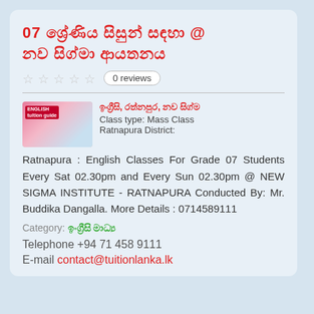07 ශ්‍රේණිය සිසුන් සඳහා @ නව සිග්මා ආයතනය
0 reviews
ඉංග්‍රීසි, රත්නපුර, නව සිග්ම Class type: Mass Class Ratnapura District: Ratnapura : English Classes For Grade 07 Students Every Sat 02.30pm and Every Sun 02.30pm @ NEW SIGMA INSTITUTE - RATNAPURA Conducted By: Mr. Buddika Dangalla. More Details : 0714589111
Category: ඉංග්‍රීසි මාධ්‍ය
Telephone  +94 71 458 9111
E-mail  contact@tuitionlanka.lk